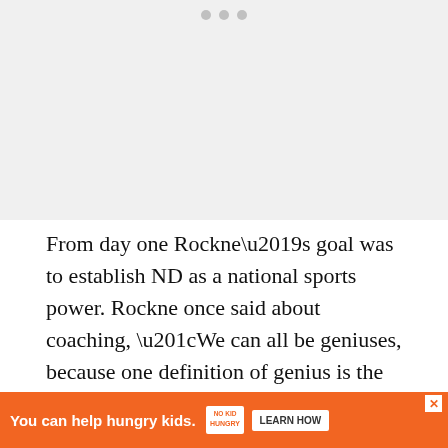[Figure (other): Gray image placeholder area with three dots at the top center indicating a carousel or slideshow]
From day one Rockne’s goal was to establish ND as a national sports power. Rockne once said about coaching, “We can all be geniuses, because one definition of genius is the infinite capacity for taking pains. Perfection in petty detail is most essential”.
George Gipp was a freshman thinking of dropping out
[Figure (other): Advertisement banner: orange background with text 'You can help hungry kids.' and No Kid Hungry logo, with a 'LEARN HOW' button and an X close button]